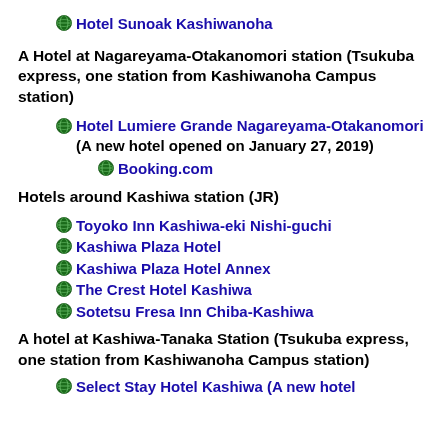Hotel Sunoak Kashiwanoha
A Hotel at Nagareyama-Otakanomori station (Tsukuba express, one station from Kashiwanoha Campus station)
Hotel Lumiere Grande Nagareyama-Otakanomori (A new hotel opened on January 27, 2019)
Booking.com
Hotels around Kashiwa station (JR)
Toyoko Inn Kashiwa-eki Nishi-guchi
Kashiwa Plaza Hotel
Kashiwa Plaza Hotel Annex
The Crest Hotel Kashiwa
Sotetsu Fresa Inn Chiba-Kashiwa
A hotel at Kashiwa-Tanaka Station (Tsukuba express, one station from Kashiwanoha Campus station)
Select Stay Hotel Kashiwa (A new hotel...)